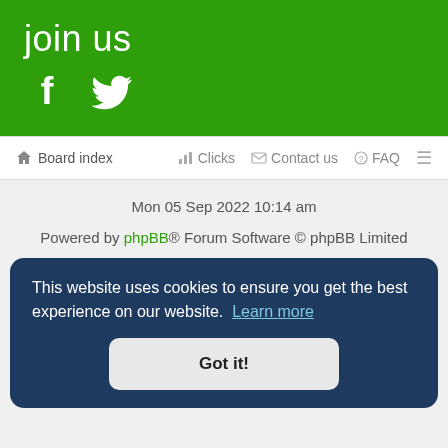join us
[Figure (infographic): Green banner with 'join us' text and Facebook and Twitter social media icons in white]
Board index  Clicks  Contact us  FAQ
Mon 05 Sep 2022 10:14 am
Powered by phpBB® Forum Software © phpBB Limited
This website uses cookies to ensure you get the best experience on our website. Learn more  Got it!